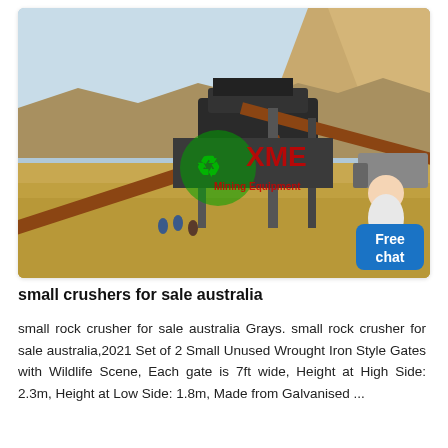[Figure (photo): Outdoor photo of a mining/crushing equipment setup in a desert landscape with sandy terrain and rocky hills. Industrial machinery including conveyor belts and crushers are visible. An XME Mining Equipment watermark logo appears in green and red in the center. A 'Free chat' button overlay with a female avatar appears in the bottom-right corner of the image.]
small crushers for sale australia
small rock crusher for sale australia Grays. small rock crusher for sale australia,2021 Set of 2 Small Unused Wrought Iron Style Gates with Wildlife Scene, Each gate is 7ft wide, Height at High Side: 2.3m, Height at Low Side: 1.8m, Made from Galvanised ...